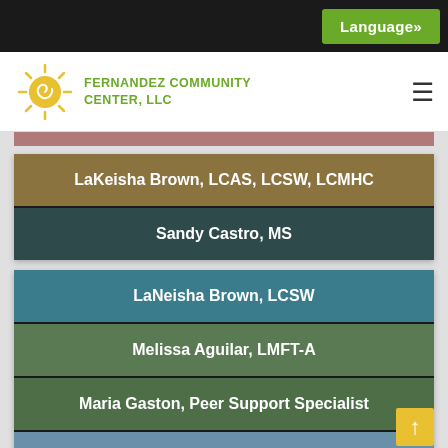Language»
FERNANDEZ COMMUNITY CENTER, LLC
LaKeisha Brown, LCAS, LCSW, LCMHC
Sandy Castro, MS
LaNeisha Brown, LCSW
Melissa Aguilar, LMFT-A
Maria Gaston, Peer Support Specialist
Miguel Cerda, Peer Support Specialist
Maya Holt, Peer Support Specialist